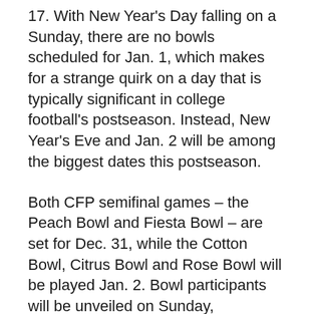17. With New Year's Day falling on a Sunday, there are no bowls scheduled for Jan. 1, which makes for a strange quirk on a day that is typically significant in college football's postseason. Instead, New Year's Eve and Jan. 2 will be among the biggest dates this postseason.
Both CFP semifinal games – the Peach Bowl and Fiesta Bowl – are set for Dec. 31, while the Cotton Bowl, Citrus Bowl and Rose Bowl will be played Jan. 2. Bowl participants will be unveiled on Sunday, December 4 after conference championship games have been decided.
CBS will once again carry the Sun Bowl on Dec. 30 in El Paso, Texas...